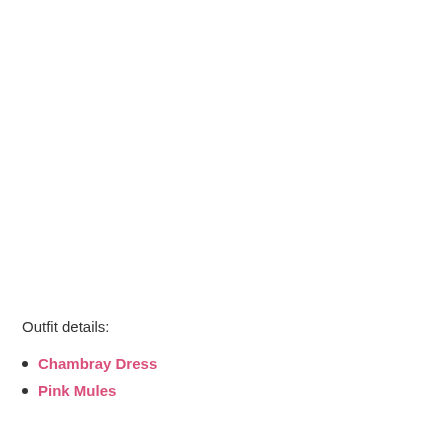Outfit details:
Chambray Dress
Pink Mules